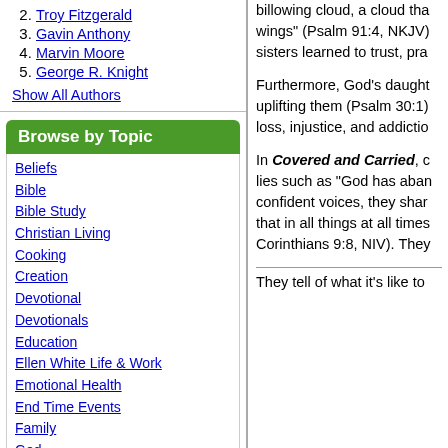2. Troy Fitzgerald
3. Gavin Anthony
4. Marvin Moore
5. George R. Knight
Show All Authors
Browse by Topic
Beliefs
Bible
Bible Study
Christian Living
Cooking
Creation
Devotional
Devotionals
Education
Ellen White Life & Work
Emotional Health
End Time Events
Family
God
God & Jesus
Health & Nutrition
billowing cloud, a cloud that wings" (Psalm 91:4, NKJV) sisters learned to trust, pra
Furthermore, God's daught uplifting them (Psalm 30:1) loss, injustice, and addictio
In Covered and Carried, c lies such as "God has aban confident voices, they shar that in all things at all times Corinthians 9:8, NIV). They
They tell of what it's like to